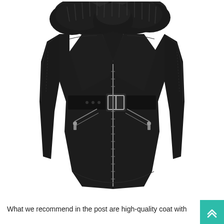[Figure (photo): Product photo of a black leather coat with large fur collar, belt with silver buckle, diagonal zipper pockets, and center front zipper. The coat is displayed on a white background.]
What we recommend in the post are high-quality coat with